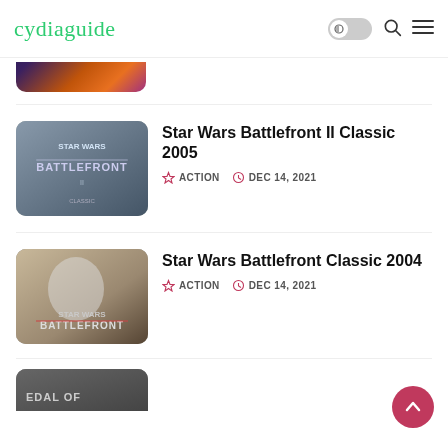cydiaguide
[Figure (screenshot): Partially visible game thumbnail at top of page (cropped, showing colorful space/explosion imagery)]
[Figure (screenshot): Star Wars Battlefront II Classic 2005 game cover art thumbnail showing soldiers with lightsabers]
Star Wars Battlefront II Classic 2005
ACTION  DEC 14, 2021
[Figure (screenshot): Star Wars Battlefront Classic 2004 game cover art thumbnail showing a Stormtrooper with a red laser blast]
Star Wars Battlefront Classic 2004
ACTION  DEC 14, 2021
[Figure (screenshot): Partially visible game thumbnail at bottom of page showing text 'EDAL OF' and a soldier (Medal of Honor)]